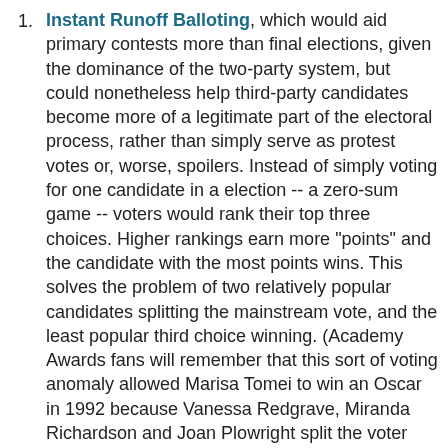Instant Runoff Balloting, which would aid primary contests more than final elections, given the dominance of the two-party system, but could nonetheless help third-party candidates become more of a legitimate part of the electoral process, rather than simply serve as protest votes or, worse, spoilers. Instead of simply voting for one candidate in a election -- a zero-sum game -- voters would rank their top three choices. Higher rankings earn more "points" and the candidate with the most points wins. This solves the problem of two relatively popular candidates splitting the mainstream vote, and the least popular third choice winning. (Academy Awards fans will remember that this sort of voting anomaly allowed Marisa Tomei to win an Oscar in 1992 because Vanessa Redgrave, Miranda Richardson and Joan Plowright split the voter base. Tomei, though a fine actress, is no Redgrave or Richardson. Range voting would have denied her an Oscar, but it probably should have.) Party Primaries would be much more competitive and representative under this system, and would undo the skewed "momentum" advantage that winner-take-all voting